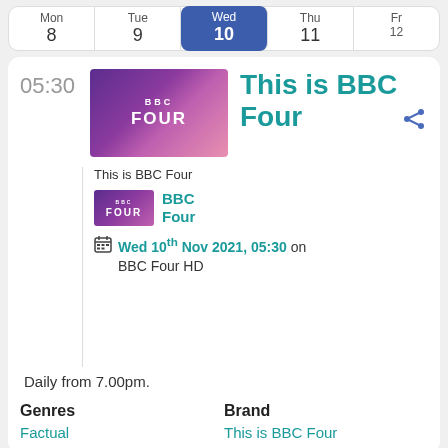| Mon 8 | Tue 9 | Wed 10 | Thu 11 | Fri 12 |
| --- | --- | --- | --- | --- |
05:30
[Figure (logo): BBC FOUR logo on purple gradient background]
This is BBC Four
This is BBC Four
[Figure (logo): BBC FOUR channel thumbnail on purple gradient background]
BBC Four
Wed 10th Nov 2021, 05:30 on BBC Four HD
Daily from 7.00pm.
Genres
Factual
Brand
This is BBC Four